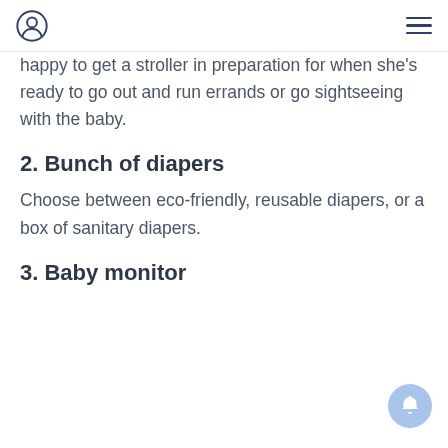happy to get a stroller in preparation for when she's ready to go out and run errands or go sightseeing with the baby.
2. Bunch of diapers
Choose between eco-friendly, reusable diapers, or a box of sanitary diapers.
3. Baby monitor